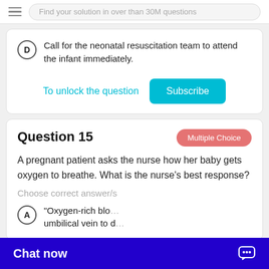Find your solution in over than 30M questions
D  Call for the neonatal resuscitation team to attend the infant immediately.
To unlock the question  Subscribe
Question 15
Multiple Choice
A pregnant patient asks the nurse how her baby gets oxygen to breathe. What is the nurse's best response?
Choose correct answer/s
A  "Oxygen-rich blo... umbilical vein to d...
Chat now